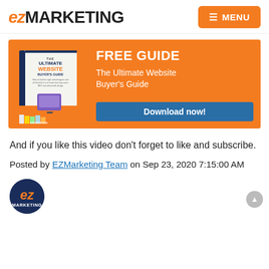EZ MARKETING  ≡ MENU
[Figure (infographic): Banner ad for 'The Ultimate Website Buyer's Guide' free download. Shows a book cover on the left and orange panel on the right with 'FREE GUIDE', subtitle 'The Ultimate Website Buyer's Guide', and a teal 'Download now!' button.]
And if you like this video don't forget to like and subscribe.
Posted by EZMarketing Team on Sep 23, 2020 7:15:00 AM
[Figure (logo): EZ Marketing circular logo — dark navy background with orange italic 'ez' and white 'MARKETING' text]